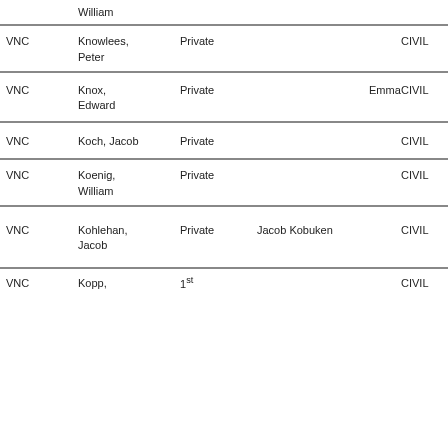|  | Name | Rank | Alias |  | War | Regiment |
| --- | --- | --- | --- | --- | --- | --- |
|  | William |  |  |  |  |  |
| VNC | Knowlees, Peter | Private |  |  | CIVIL | 23rd |
| VNC | Knox, Edward | Private |  | Emma | CIVIL | 47th |
| VNC | Koch, Jacob | Private |  |  | CIVIL | 17th |
| VNC | Koenig, William | Private |  |  | CIVIL | 3rd |
| VNC | Kohlehan, Jacob | Private | Jacob Kobuken |  | CIVIL | 26th |
| VNC | Kopp, | 1st |  |  | CIVIL | 30th |